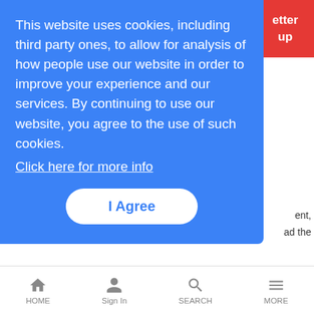[Figure (screenshot): Red newsletter signup button partially visible in top-right corner]
This website uses cookies, including third party ones, to allow for analysis of how people use our website in order to improve your experience and our services. By continuing to use our website, you agree to the use of such cookies. Click here for more info
I Agree
fiber still has its place and is a growing commodity for vendors.
Orange-Backed Athonet Aims to Be Core Rival to Ericsson, Nokia
News Analysis | 6/20/2017
A startup backed by Orange and Facebook could pose a threat to
HOME  Sign In  SEARCH  MORE